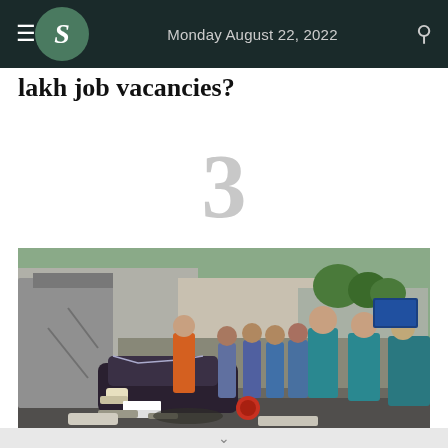Monday August 22, 2022
lakh job vacancies?
3
[Figure (photo): A concrete pillar or structure has fallen onto a car, crushing it. Emergency responders and a crowd of onlookers are visible in the background on a city street. Several people in teal/blue shirts are visible in the foreground observing the scene.]